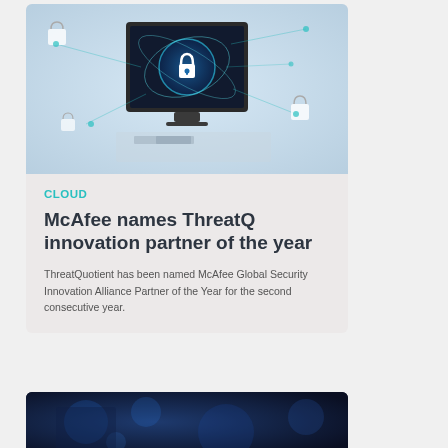[Figure (photo): Cybersecurity themed image showing a computer monitor with a glowing padlock icon surrounded by network connection lines and circular orbital patterns on a light blue/grey background]
CLOUD
McAfee names ThreatQ innovation partner of the year
ThreatQuotient has been named McAfee Global Security Innovation Alliance Partner of the Year for the second consecutive year.
[Figure (photo): Partial image at bottom showing blue-tinted technology background, partially cut off]